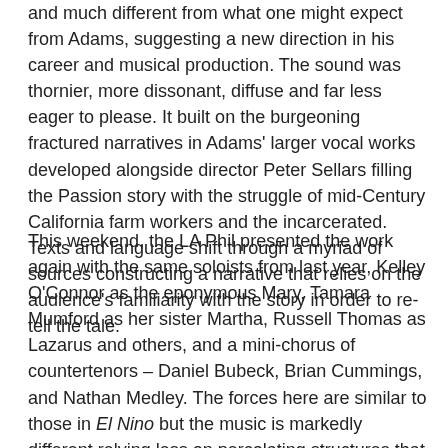and much different from what one might expect from Adams, suggesting a new direction in his career and musical production. The sound was thornier, more dissonant, diffuse and far less eager to please. It built on the burgeoning fractured narratives in Adams' larger vocal works developed alongside director Peter Sellars filling the Passion story with the struggle of mid-Century California farm workers and the incarcerated. Texts and language shift through a myriad of sources constructing a narrative that relies on the audience's familiarity with the story in order to re-tell the tale.
This weekend, the LA Phil presented the work again with the same soloists from last year, Kelley O'Connor as the eponymous Mary, Tamara Mumford as her sister Martha, Russell Thomas as Lazarus and others, and a mini-chorus of countertenors – Daniel Bubeck, Brian Cummings, and Nathan Medley. The forces here are similar to those in El Nino but the music is markedly different relying less on percolating structures that repeat and blossom into grand gestures. Mary is still startling for what it is not and this time seemed more concentrated and directed in its goals. When Mary mistakes Jesus for the gardener at the conclusion, it is